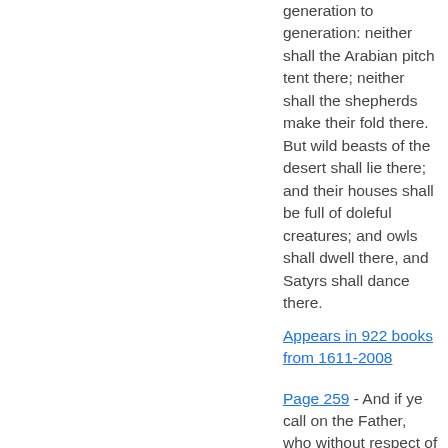generation to generation: neither shall the Arabian pitch tent there; neither shall the shepherds make their fold there. But wild beasts of the desert shall lie there; and their houses shall be full of doleful creatures; and owls shall dwell there, and Satyrs shall dance there.
Appears in 922 books from 1611-2008
Page 259 - And if ye call on the Father, who without respect of persons judgeth according to every man's work, pass the time of your sojourning here in fear...